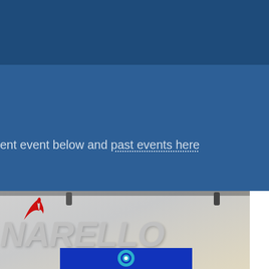[Figure (logo): La Squadra circular logo with concentric circles in teal/cyan on dark blue background, white center dot, with text LA SQUADRA below]
ent event below and past events here
[Figure (photo): Photo of a Pinarello brand display/booth showing the Pinarello logo in red and large silver PINARELLO lettering on a grey background, with a TV screen showing the La Squadra logo at the bottom]